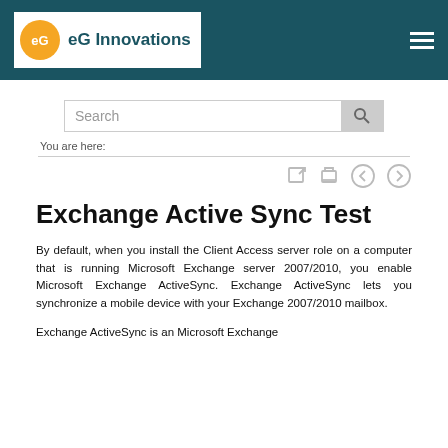eG Innovations
Search
You are here:
Exchange Active Sync Test
By default, when you install the Client Access server role on a computer that is running Microsoft Exchange server 2007/2010, you enable Microsoft Exchange ActiveSync. Exchange ActiveSync lets you synchronize a mobile device with your Exchange 2007/2010 mailbox.

Exchange ActiveSync is an Microsoft Exchange